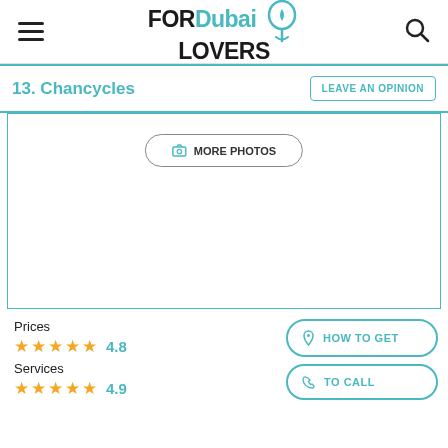FOR Dubai LOVERS
13. Chancycles
LEAVE AN OPINION
[Figure (screenshot): Photo placeholder area with MORE PHOTOS button]
Prices
4.8
Services
4.9
HOW TO GET
TO CALL